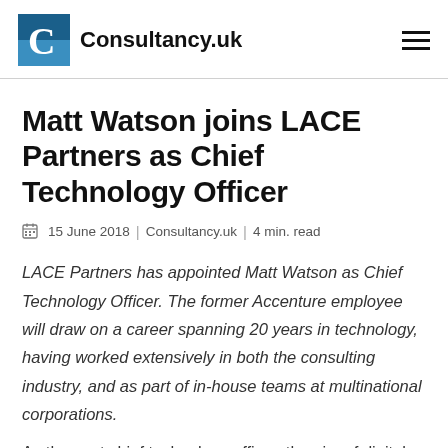Consultancy.uk
Matt Watson joins LACE Partners as Chief Technology Officer
15 June 2018 | Consultancy.uk | 4 min. read
LACE Partners has appointed Matt Watson as Chief Technology Officer. The former Accenture employee will draw on a career spanning 20 years in technology, having worked extensively in both the consulting industry, and as part of in-house teams at multinational corporations.
As the next chief technology officer, the aim of digital...